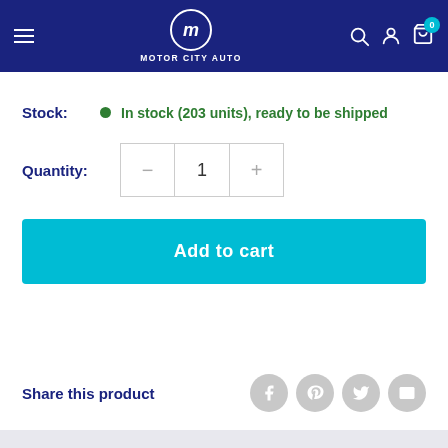[Figure (screenshot): Motor City Auto website header with navigation bar in dark blue/navy background. Contains hamburger menu icon on left, Motor City Auto logo in center, and search, account, and cart icons on right. Cart shows badge with 0.]
Stock: • In stock (203 units), ready to be shipped
Quantity: 1
Add to cart
Share this product